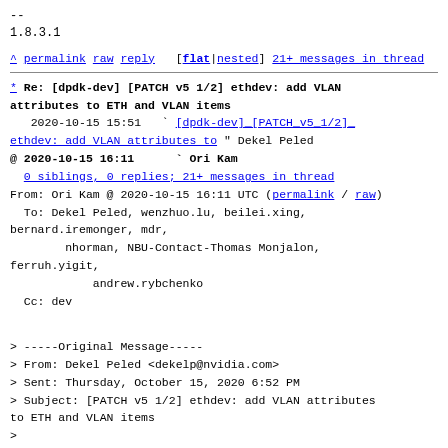--
1.8.3.1
^ permalink raw reply  [flat|nested] 21+ messages in thread
* Re: [dpdk-dev] [PATCH v5 1/2] ethdev: add VLAN attributes to ETH and VLAN items
  2020-10-15 15:51  ` [dpdk-dev] [PATCH v5 1/2] ethdev: add VLAN attributes to " Dekel Peled
@ 2020-10-15 16:11      ` Ori Kam
  0 siblings, 0 replies; 21+ messages in thread
From: Ori Kam @ 2020-10-15 16:11 UTC (permalink / raw)
  To: Dekel Peled, wenzhuo.lu, beilei.xing, bernard.iremonger, mdr,
        nhorman, NBU-Contact-Thomas Monjalon, ferruh.yigit,
              andrew.rybchenko
  Cc: dev
> -----Original Message-----
> From: Dekel Peled <dekelp@nvidia.com>
> Sent: Thursday, October 15, 2020 6:52 PM
> Subject: [PATCH v5 1/2] ethdev: add VLAN attributes to ETH and VLAN items
> 
> This patch is ...